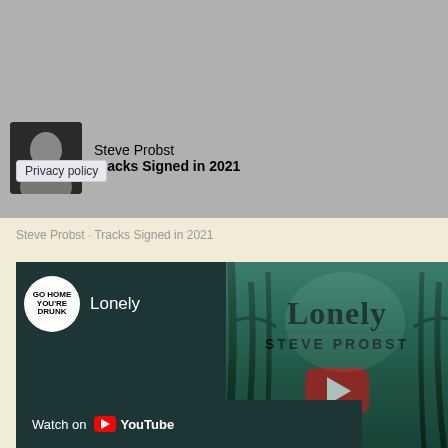[Figure (screenshot): Top gray banner area of a social media or music platform page]
Steve Probst
Tracks Signed in 2021
Privacy policy
Steve Probst · Tracks Signed in 2021
[Figure (screenshot): YouTube video embed showing 'Lonely' by Steve Probst with a dark forest background, play button, artist name, and Watch on YouTube button at the bottom]